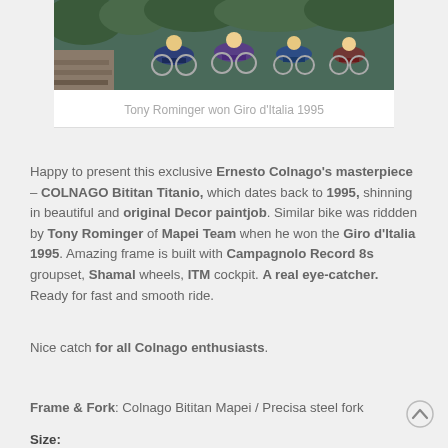[Figure (photo): Cycling race photo showing multiple riders on road bikes, with stone wall background]
Tony Rominger won Giro d'Italia 1995
Happy to present this exclusive Ernesto Colnago's masterpiece – COLNAGO Bititan Titanio, which dates back to 1995, shinning in beautiful and original Decor paintjob. Similar bike was riddden by Tony Rominger of Mapei Team when he won the Giro d'Italia 1995. Amazing frame is built with Campagnolo Record 8s groupset, Shamal wheels, ITM cockpit. A real eye-catcher. Ready for fast and smooth ride.
Nice catch for all Colnago enthusiasts.
Frame & Fork: Colnago Bititan Mapei / Precisa steel fork
Size: